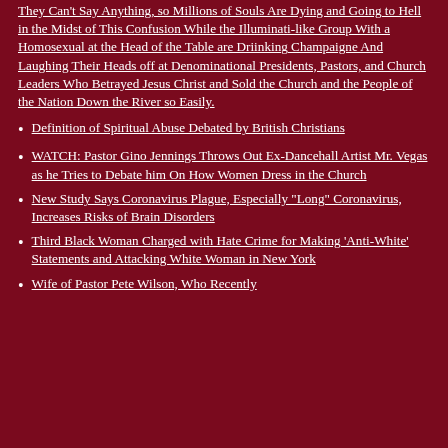They Can't Say Anything, so Millions of Souls Are Dying and Going to Hell in the Midst of This Confusion While the Illuminati-like Group With a Homosexual at the Head of the Table are Driinking Champaigne And Laughing Their Heads off at Denominational Presidents, Pastors, and Church Leaders Who Betrayed Jesus Christ and Sold the Church and the People of the Nation Down the River so Easily.
Definition of Spiritual Abuse Debated by British Christians
WATCH: Pastor Gino Jennings Throws Out Ex-Dancehall Artist Mr. Vegas as he Tries to Debate him On How Women Dress in the Church
New Study Says Coronavirus Plague, Especially 'Long' Coronavirus, Increases Risks of Brain Disorders
Third Black Woman Charged with Hate Crime for Making 'Anti-White' Statements and Attacking White Woman in New York
Wife of Pastor Pete Wilson, Who Recently